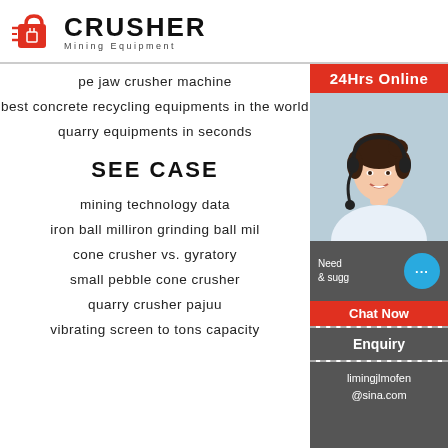[Figure (logo): Crusher Mining Equipment logo with red shopping bag icon and bold CRUSHER text]
pe jaw crusher machine
best concrete recycling equipments in the world
quarry equipments in seconds
SEE CASE
mining technology data
iron ball milliron grinding ball mil
cone crusher vs. gyratory
small pebble cone crusher
quarry crusher pajuu
vibrating screen to tons capacity
[Figure (infographic): 24Hrs Online customer service sidebar with female agent wearing headset, Chat Now button, Enquiry section, and limingjlmofen@sina.com contact]